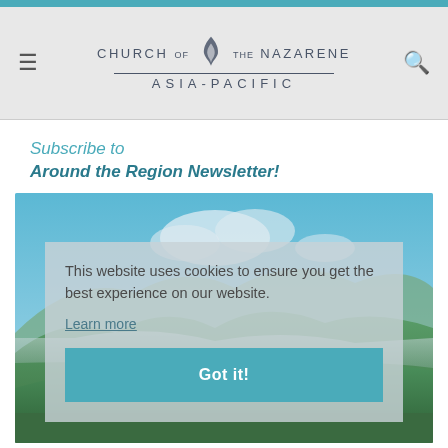Church of the Nazarene Asia-Pacific
Subscribe to Around the Region Newsletter!
[Figure (photo): Landscape photo of green rolling hills and mountains under a blue sky with clouds]
This website uses cookies to ensure you get the best experience on our website. Learn more Got it!